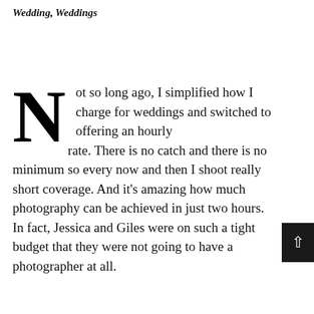Wedding, Weddings
Not so long ago, I simplified how I charge for weddings and switched to offering an hourly rate. There is no catch and there is no minimum so every now and then I shoot really short coverage. And it's amazing how much photography can be achieved in just two hours. In fact, Jessica and Giles were on such a tight budget that they were not going to have a photographer at all.